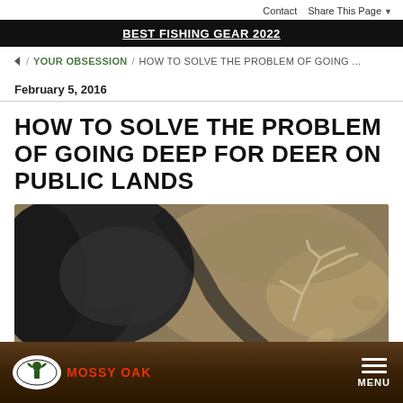Contact   Share This Page ▼
BEST FISHING GEAR 2022
▼ / YOUR OBSESSION / HOW TO SOLVE THE PROBLEM OF GOING ...
February 5, 2016
HOW TO SOLVE THE PROBLEM OF GOING DEEP FOR DEER ON PUBLIC LANDS
[Figure (photo): Close-up photo of a deer lying on leaf-covered ground, showing the deer's dark furry body and antlers visible on the right side]
MOSSY OAK   MENU